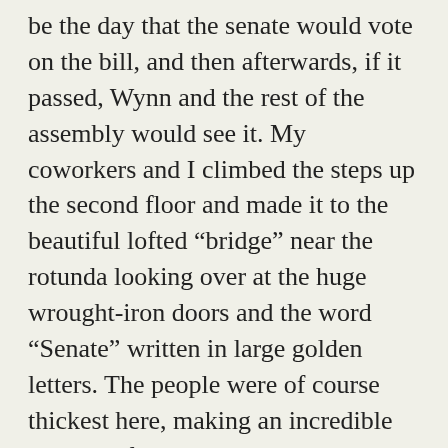be the day that the senate would vote on the bill, and then afterwards, if it passed, Wynn and the rest of the assembly would see it. My coworkers and I climbed the steps up the second floor and made it to the beautiful lofted “bridge” near the rotunda looking over at the huge wrought-iron doors and the word “Senate” written in large golden letters. The people were of course thickest here, making an incredible amount of noise and breaking into a multitude of different chants and cheers every few minutes. We stayed there for twenty minutes or so before heading out to get some air again; as we walked around the capitol we started to hear snatches of excited rumors: the 14 Democrat senators had fled the state to Illinois and Iowa in order to prevent the doomed vote from taking place; with only 19 Republican senators left in the chamber, they didn’t have the quorum of 20 needed in order to carry out the vote.